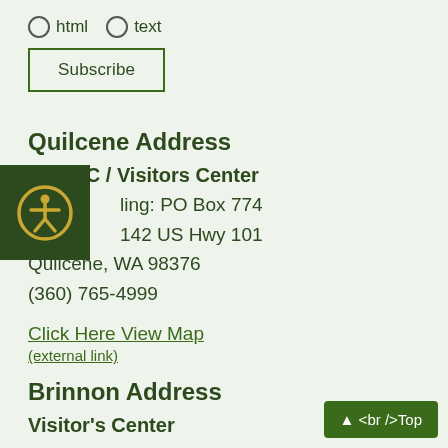html  text
Subscribe
Quilcene Address
NHCCC / Visitors Center
Mailing: PO Box 774
142 US Hwy 101
Quilcene, WA 98376
(360) 765-4999
Click Here View Map
(external link)
Brinnon Address
Visitor's Center
306144 US Hwy 101
Brinnon, WA 98320
▲ <br />Top